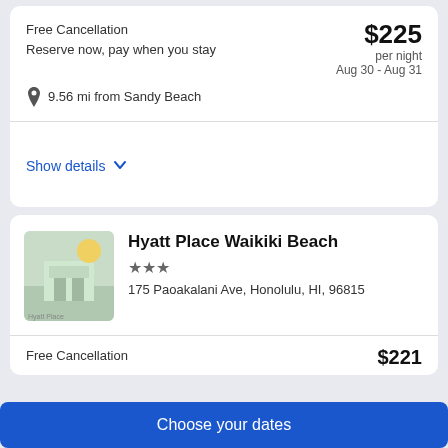Free Cancellation
Reserve now, pay when you stay
$225 per night
Aug 30 - Aug 31
9.56 mi from Sandy Beach
Show details
[Figure (photo): Hyatt Place Waikiki Beach hotel thumbnail image]
Hyatt Place Waikiki Beach
★★★
175 Paoakalani Ave, Honolulu, HI, 96815
Free Cancellation
$221
Choose your dates